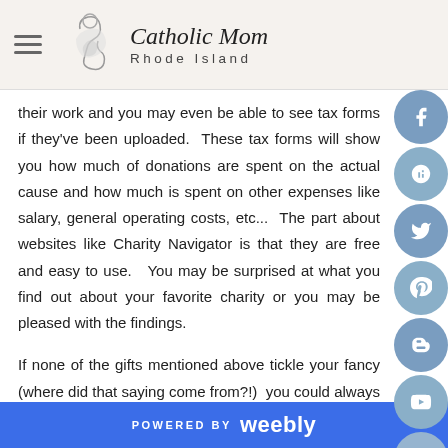Catholic Mom Rhode Island
their work and you may even be able to see tax forms if they've been uploaded.  These tax forms will show you how much of donations are spent on the actual cause and how much is spent on other expenses like salary, general operating costs, etc...  The part about websites like Charity Navigator is that they are free and easy to use.   You may be surprised at what you find out about your favorite charity or you may be pleased with the findings.
If none of the gifts mentioned above tickle your fancy (where did that saying come from?!)  you could always head over to your grocery or drugstore and pick up gift cards.  I think most of us h
POWERED BY weebly